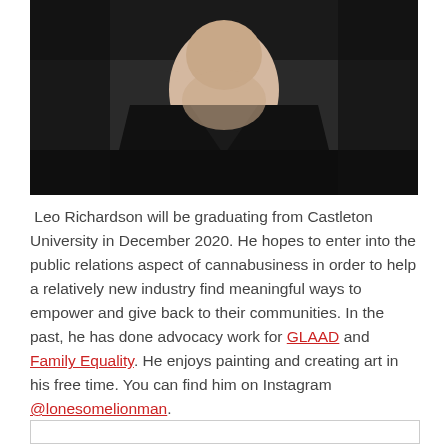[Figure (photo): Portrait photo of Leo Richardson, a young man wearing a black v-neck shirt, cropped to show neck and torso area, dark background]
Leo Richardson will be graduating from Castleton University in December 2020. He hopes to enter into the public relations aspect of cannabusiness in order to help a relatively new industry find meaningful ways to empower and give back to their communities. In the past, he has done advocacy work for GLAAD and Family Equality. He enjoys painting and creating art in his free time. You can find him on Instagram @lonesomelionman.